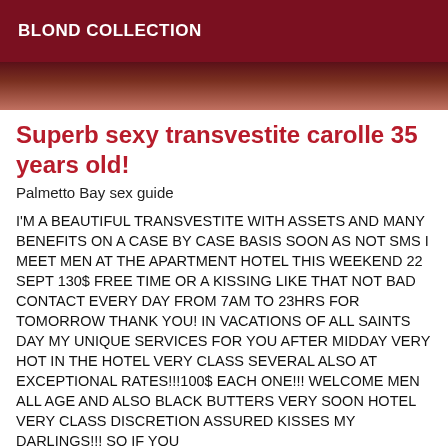BLOND COLLECTION
[Figure (photo): Partial photo strip showing dark reddish-brown tones, cropped view of person]
Superb sexy transvestite carolle 35 years old!
Palmetto Bay sex guide
I'M A BEAUTIFUL TRANSVESTITE WITH ASSETS AND MANY BENEFITS ON A CASE BY CASE BASIS SOON AS NOT SMS I MEET MEN AT THE APARTMENT HOTEL THIS WEEKEND 22 SEPT 130$ FREE TIME OR A KISSING LIKE THAT NOT BAD CONTACT EVERY DAY FROM 7AM TO 23HRS FOR TOMORROW THANK YOU! IN VACATIONS OF ALL SAINTS DAY MY UNIQUE SERVICES FOR YOU AFTER MIDDAY VERY HOT IN THE HOTEL VERY CLASS SEVERAL ALSO AT EXCEPTIONAL RATES!!!100$ EACH ONE!!! WELCOME MEN ALL AGE AND ALSO BLACK BUTTERS VERY SOON HOTEL VERY CLASS DISCRETION ASSURED KISSES MY DARLINGS!!! SO IF YOU